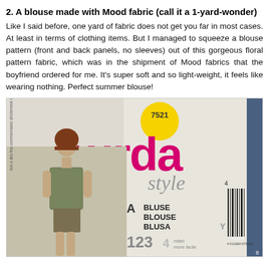2. A blouse made with Mood fabric (call it a 1-yard-wonder)
Like I said before, one yard of fabric does not get you far in most cases. At least in terms of clothing items. But I managed to squeeze a blouse pattern (front and back panels, no sleeves) out of this gorgeous floral pattern fabric, which was in the shipment of Mood fabrics that the boyfriend ordered for me. It's super soft and so light-weight, it feels like wearing nothing. Perfect summer blouse!
[Figure (photo): Photo of a Burda Style sewing pattern envelope number 7521 showing a model wearing a floral blouse (pattern A - BLUSE/BLOUSE/BLUSA) with sizes 1234, difficulty level mittel/mons facile. The envelope features the pink Burda logo and yellow circle with pattern number.]